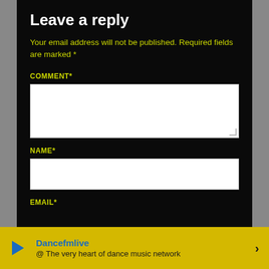Leave a reply
Your email address will not be published. Required fields are marked *
COMMENT*
NAME*
EMAIL*
Dancefmlive @ The very heart of dance music network